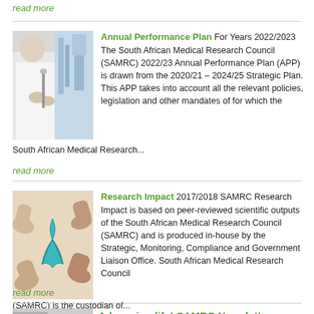read more
[Figure (photo): Lab worker in white coat handling scientific equipment]
Annual Performance Plan For Years 2022/2023 The South African Medical Research Council (SAMRC) 2022/23 Annual Performance Plan (APP) is drawn from the 2020/21 – 2024/25 Strategic Plan. This APP takes into account all the relevant policies, legislation and other mandates of for which the South African Medical Research...
read more
[Figure (photo): Hands holding a teal ribbon awareness symbol]
Research Impact 2017/2018 SAMRC Research Impact is based on peer-reviewed scientific outputs of the South African Medical Research Council (SAMRC) and is produced in-house by the Strategic, Monitoring, Compliance and Government Liaison Office. South African Medical Research Council (SAMRC) is the custodian of...
read more
[Figure (photo): Partial view of third article image - advancing life SAMRC Newsletter]